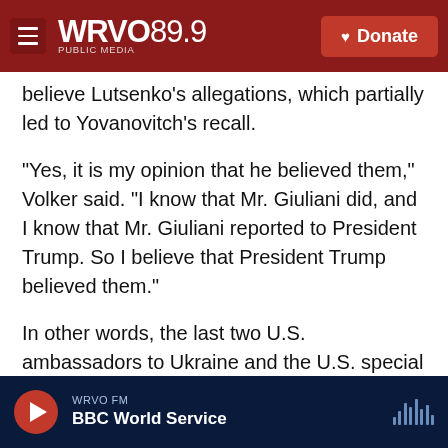WRVO 89.9 PUBLIC MEDIA — Donate
believe Lutsenko's allegations, which partially led to Yovanovitch's recall.
"Yes, it is my opinion that he believed them," Volker said. "I know that Mr. Giuliani did, and I know that Mr. Giuliani reported to President Trump. So I believe that President Trump believed them."
In other words, the last two U.S. ambassadors to Ukraine and the U.S. special envoy to Ukraine all determined that Lutsenko's allegations were false, and yet the president of the United States apparently made consequential moves based on
WRVO FM — BBC World Service